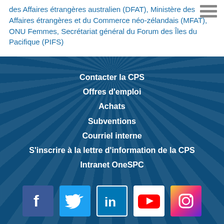des Affaires étrangères australien (DFAT), Ministère des Affaires étrangères et du Commerce néo-zélandais (MFAT), ONU Femmes, Secrétariat général du Forum des Îles du Pacifique (PIFS)
Contacter la CPS
Offres d'emploi
Achats
Subventions
Courriel interne
S'inscrire à la lettre d'information de la CPS
Intranet OneSPC
[Figure (other): Row of five social media icons: Facebook, Twitter, LinkedIn, YouTube, Instagram]